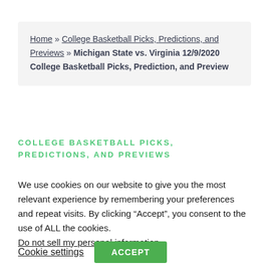Home » College Basketball Picks, Predictions, and Previews » Michigan State vs. Virginia 12/9/2020 College Basketball Picks, Prediction, and Preview
COLLEGE BASKETBALL PICKS, PREDICTIONS, AND PREVIEWS
We use cookies on our website to give you the most relevant experience by remembering your preferences and repeat visits. By clicking “Accept”, you consent to the use of ALL the cookies. Do not sell my personal information.
Cookie settings  ACCEPT